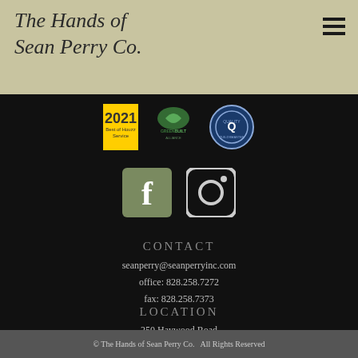The Hands of Sean Perry Co.
[Figure (logo): Hamburger menu icon (three horizontal lines) in top right corner]
[Figure (infographic): Three badge logos: 2021 Best of Houzz Service (yellow badge), GreenBuilt Alliance (green leaf logo), and a blue circular quality/quildsmaster badge]
[Figure (infographic): Facebook icon (olive/green square with white 'f') and Instagram icon (rounded square outline with camera symbol)]
CONTACT
seanperry@seanperryinc.com
office: 828.258.7272
fax: 828.258.7373
LOCATION
250 Haywood Road
Asheville, NC 28806
© The Hands of Sean Perry Co.   All Rights Reserved